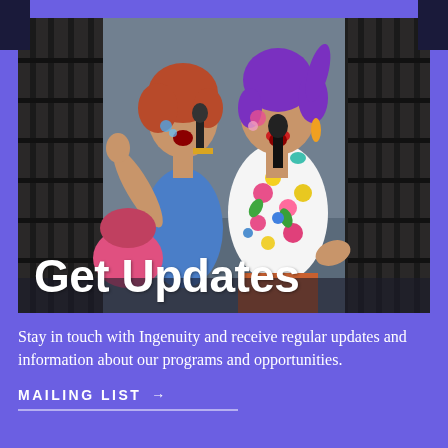[Figure (photo): Two women performing on stage, singing into microphones. Left performer has red hair, blue crop top, face paint. Right performer has purple hair, colorful floral shirt, orange pants, face paint. Festival outdoor setting with dark backdrop.]
Get Updates
Stay in touch with Ingenuity and receive regular updates and information about our programs and opportunities.
MAILING LIST →